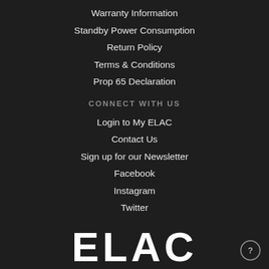Warranty Information
Standby Power Consumption
Return Policy
Terms & Conditions
Prop 65 Declaration
CONNECT WITH US
Login to My ELAC
Contact Us
Sign up for our Newsletter
Facebook
Instagram
Twitter
[Figure (logo): ELAC logo in large bold white text on dark background]